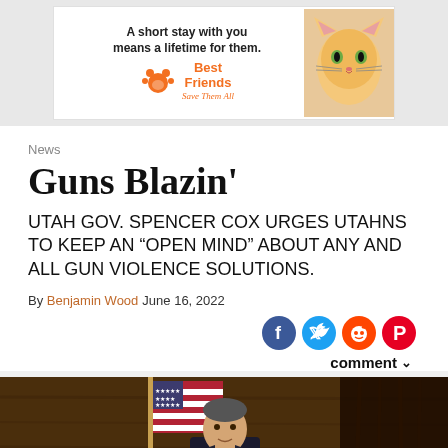[Figure (photo): Best Friends Animal Society advertisement banner with text 'A short stay with you means a lifetime for them.' with orange paw logo and kitten photo]
News
Guns Blazin'
UTAH GOV. SPENCER COX URGES UTAHNS TO KEEP AN “OPEN MIND” ABOUT ANY AND ALL GUN VIOLENCE SOLUTIONS.
By Benjamin Wood
June 16, 2022
[Figure (photo): Photo of a man speaking at a podium next to an American flag against a wood-paneled background, likely Utah Gov. Spencer Cox]